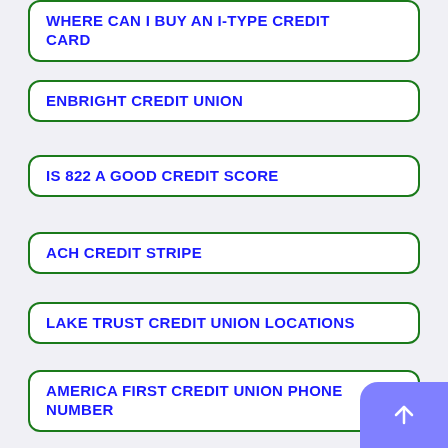WHERE CAN I BUY AN I-TYPE CREDIT CARD
ENBRIGHT CREDIT UNION
IS 822 A GOOD CREDIT SCORE
ACH CREDIT STRIPE
LAKE TRUST CREDIT UNION LOCATIONS
AMERICA FIRST CREDIT UNION PHONE NUMBER